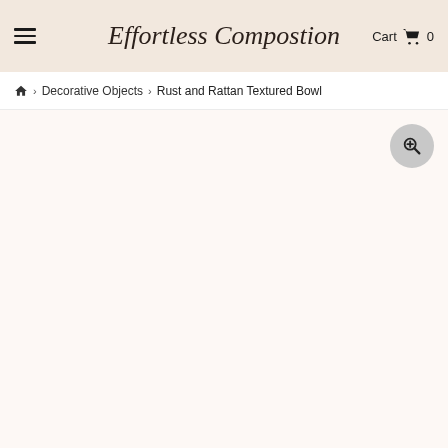Effortless Compostion  Cart 0
Home > Decorative Objects > Rust and Rattan Textured Bowl
[Figure (photo): Product image area showing a mostly blank/white product photo space with a zoom/search magnifier button in the upper right corner]